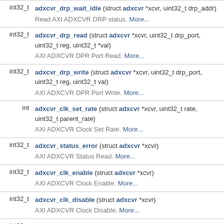| Return type | Function signature |
| --- | --- |
| int32_t | adxcvr_drp_wait_idle (struct adxcvr *xcvr, uint32_t drp_addr)
Read AXI ADXCVR DRP status. More... |
| int32_t | adxcvr_drp_read (struct adxcvr *xcvr, uint32_t drp_port, uint32_t reg, uint32_t *val)
AXI ADXCVR DPR Port Read. More... |
| int32_t | adxcvr_drp_write (struct adxcvr *xcvr, uint32_t drp_port, uint32_t reg, uint32_t val)
AXI ADXCVR DPR Port Write. More... |
| int | adxcvr_clk_set_rate (struct adxcvr *xcvr, uint32_t rate, uint32_t parent_rate)
AXI ADXCVR Clock Set Rate. More... |
| int32_t | adxcvr_status_error (struct adxcvr *xcvr)
AXI ADXCVR Status Read. More... |
| int32_t | adxcvr_clk_enable (struct adxcvr *xcvr)
AXI ADXCVR Clock Enable. More... |
| int32_t | adxcvr_clk_disable (struct adxcvr *xcvr)
AXI ADXCVR Clock Disable. More... |
| int32_t | adxcvr_init (struct adxcvr **ad_xcvr, const struct
AXI ADXCVR Init. |